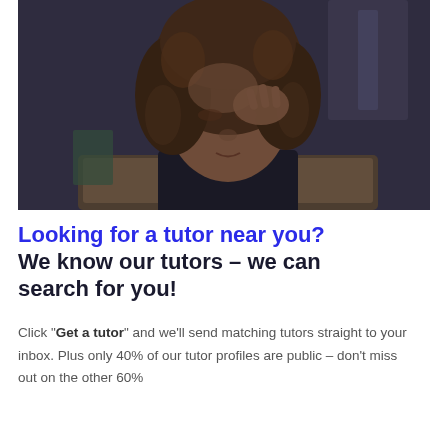[Figure (photo): A stressed young Black woman with curly hair holds her hand to her forehead, looking down at a laptop screen in a dimly lit environment. She is wearing a dark shirt and a gold necklace.]
Looking for a tutor near you? We know our tutors – we can search for you!
Click “Get a tutor” and we’ll send matching tutors straight to your inbox. Plus only 40% of our tutor profiles are public – don’t miss out on the other 60%